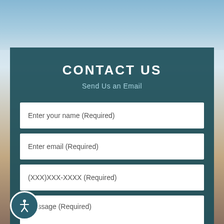[Figure (photo): Coastal/beach background with sky and building structure visible on the right side]
CONTACT US
Send Us an Email
Enter your name (Required)
Enter email (Required)
(XXX)XXX-XXXX (Required)
Message (Required)
[Figure (illustration): Accessibility icon button - circular button with person/human figure icon]